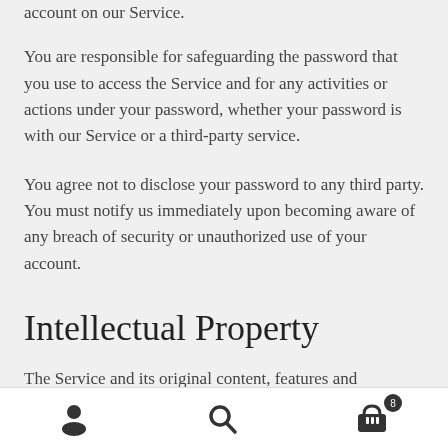account on our Service.
You are responsible for safeguarding the password that you use to access the Service and for any activities or actions under your password, whether your password is with our Service or a third-party service.
You agree not to disclose your password to any third party. You must notify us immediately upon becoming aware of any breach of security or unauthorized use of your account.
Intellectual Property
The Service and its original content, features and